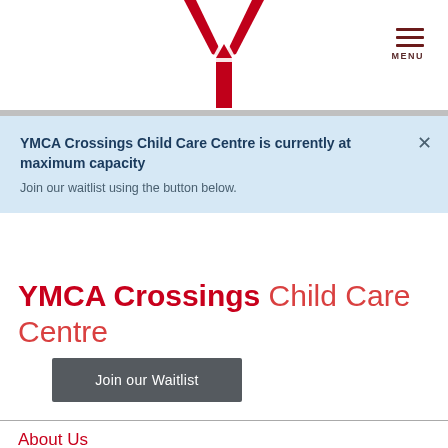[Figure (logo): YMCA logo — red Y-shape with triangle, partial view at top center]
MENU
YMCA Crossings Child Care Centre is currently at maximum capacity
Join our waitlist using the button below.
YMCA Crossings Child Care Centre
Join our Waitlist
About Us